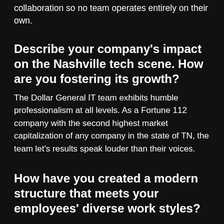collaboration so no team operates entirely on their own.
Describe your company's impact on the Nashville tech scene. How are you fostering its growth?
The Dollar General IT team exhibits humble professionalism at all levels. As a Fortune 112 company with the second highest market capitalization of any company in the state of TN, the team let's results speak louder than their voices.
How have you created a modern structure that meets your employees' diverse work styles?